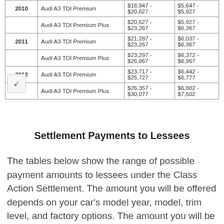| Year | Model | Price Range | Settlement Range |
| --- | --- | --- | --- |
| 2010 | Audi A3 TDI Premium | $18,947 - $20,627 | $5,647 - $5,927 |
|  | Audi A3 TDI Premium Plus | $20,627 - $23,267 | $5,927 - $6,367 |
| 2011 | Audi A3 TDI Premium | $21,287 - $23,267 | $6,037 - $6,367 |
|  | Audi A3 TDI Premium Plus | $23,297 - $26,867 | $6,372 - $6,967 |
| 2012 | Audi A3 TDI Premium | $23,717 - $25,727 | $6,442 - $6,777 |
|  | Audi A3 TDI Premium Plus | $26,357 - $30,077 | $6,882 - $7,502 |
Settlement Payments to Lessees
The tables below show the range of possible payment amounts to lessees under the Class Action Settlement. The amount you will be offered depends on your car's model year, model, trim level, and factory options. The amount you will be offered will be the same whether you choose a Lease Termination or